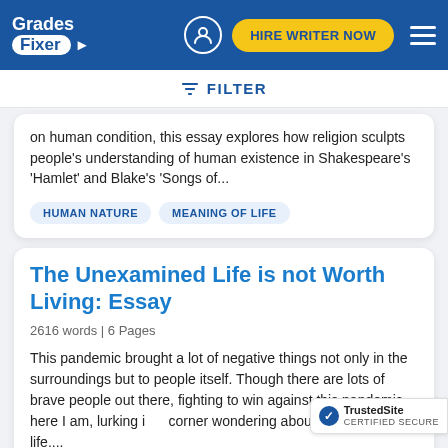Grades Fixer | HIRE WRITER NOW
FILTER
on human condition, this essay explores how religion sculpts people's understanding of human existence in Shakespeare's 'Hamlet' and Blake's 'Songs of...
HUMAN NATURE
MEANING OF LIFE
The Unexamined Life is not Worth Living: Essay
2616 words | 6 Pages
This pandemic brought a lot of negative things not only in the surroundings but to people itself. Though there are lots of brave people out there, fighting to win against this pandemic, here I am, lurking in a corner wondering about my purpose in life....